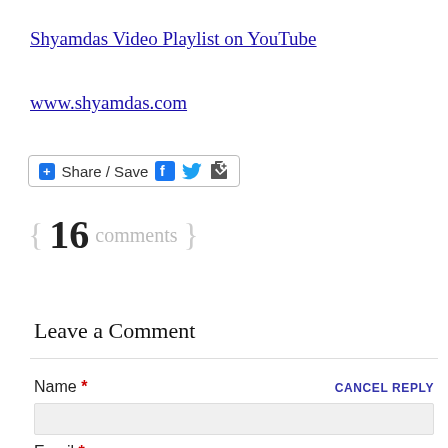Shyamdas Video Playlist on YouTube
www.shyamdas.com
[Figure (other): Share / Save social sharing button bar with Facebook, Twitter, and share icons]
{ 16 comments }
Leave a Comment
Name * CANCEL REPLY
Email *